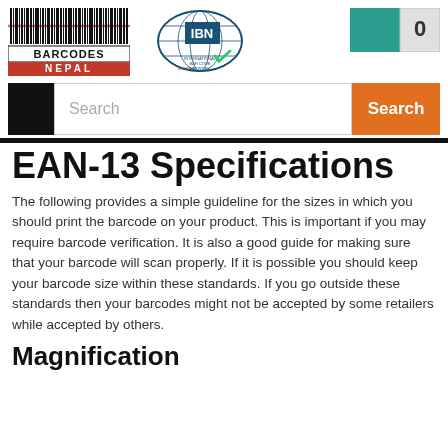[Figure (logo): Barcodes Nepal logo with barcode image on top, text BARCODES on white background, NEPAL on red background]
[Figure (logo): IBN International Barcode Network member logo with globe graphic]
[Figure (other): Teal square and grey box with 0 representing shopping cart]
[Figure (other): Black box next to search input field and orange Search button]
EAN-13 Specifications
The following provides a simple guideline for the sizes in which you should print the barcode on your product. This is important if you may require barcode verification. It is also a good guide for making sure that your barcode will scan properly. If it is possible you should keep your barcode size within these standards. If you go outside these standards then your barcodes might not be accepted by some retailers while accepted by others.
Magnification